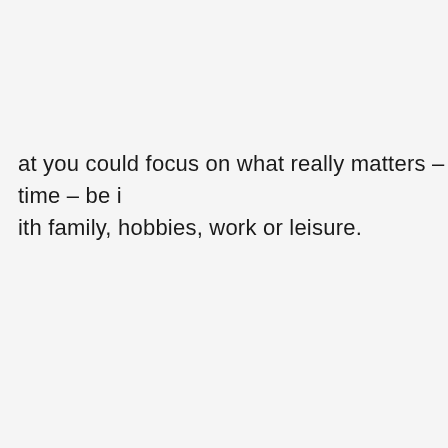at you could focus on what really matters – time – be ith family, hobbies, work or leisure.